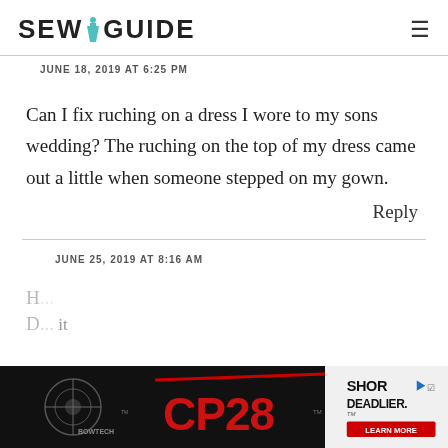SEW GUIDE
JUNE 18, 2019 AT 6:25 PM
Can I fix ruching on a dress I wore to my sons wedding? The ruching on the top of my dress came out a little when someone stepped on my gown.
Reply
JUNE 25, 2019 AT 8:16 AM
[Figure (screenshot): Advertisement banner for Bowtech CP28 crossbow: black background with red CP28 logo text, Bowtech branding, and 'SHORTER. DEADLIER.' tagline with LEARN MORE button on right side]